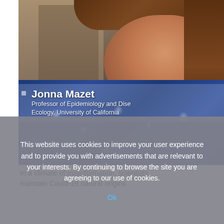[Figure (photo): Video screenshot of a woman identified as Jonna Mazet, Professor of Epidemiology and Disease Ecology, University of California. She is wearing a blue floral top. A name chyron overlay shows her name and title.]
In a climate of misinformation, scientists maintain Covid-19 natural origins
This website uses cookies to improve your user experience and to provide you with advertisements that are relevant to your interests. By continuing to browse the site you are agreeing to our use of cookies.
Ok